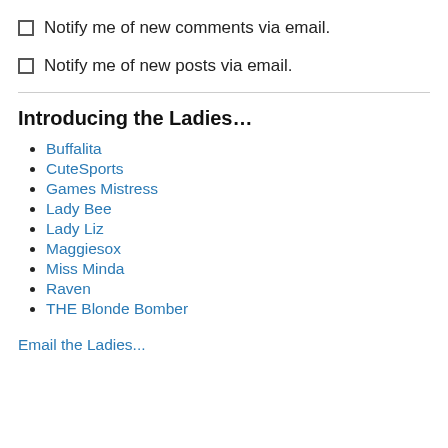Notify me of new comments via email.
Notify me of new posts via email.
Introducing the Ladies…
Buffalita
CuteSports
Games Mistress
Lady Bee
Lady Liz
Maggiesox
Miss Minda
Raven
THE Blonde Bomber
Email the Ladies...